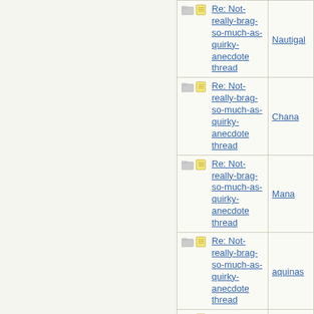| Topic | Author |
| --- | --- |
| Re: Not-really-brag-so-much-as-quirky-anecdote thread | Nautigal |
| Re: Not-really-brag-so-much-as-quirky-anecdote thread | Chana |
| Re: Not-really-brag-so-much-as-quirky-anecdote thread | Mana |
| Re: Not-really-brag-so-much-as-quirky-anecdote thread | aquinas |
| Re: Not-really-brag-so-much-as-quirky-anecdote thread | aquinas |
| Re: Not-really-brag-so-much-as-quirky-anecdote thread | jholland1 |
| Re: Not-really-brag-so-much-as-quirky-anecdote thread |  |